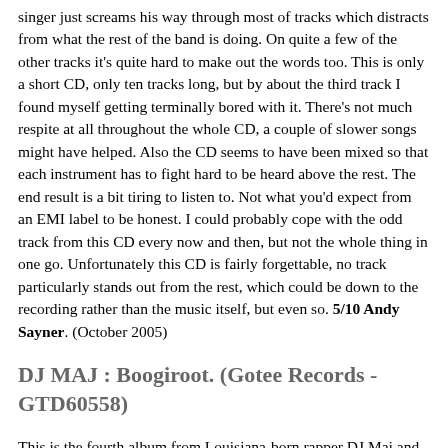singer just screams his way through most of tracks which distracts from what the rest of the band is doing. On quite a few of the other tracks it's quite hard to make out the words too. This is only a short CD, only ten tracks long, but by about the third track I found myself getting terminally bored with it. There's not much respite at all throughout the whole CD, a couple of slower songs might have helped. Also the CD seems to have been mixed so that each instrument has to fight hard to be heard above the rest. The end result is a bit tiring to listen to. Not what you'd expect from an EMI label to be honest. I could probably cope with the odd track from this CD every now and then, but not the whole thing in one go. Unfortunately this CD is fairly forgettable, no track particularly stands out from the rest, which could be down to the recording rather than the music itself, but even so. 5/10 Andy Sayner. (October 2005)
DJ MAJ : Boogiroot. (Gotee Records - GTD60558)
This is the fourth album from Louisiana-born rapper DJ Maj and one which he hopes will "find fertile soil among music lovers of every stripe". I reason then that not being a lover of rap myself, if he can make this album appeal to me, then he may well achieve